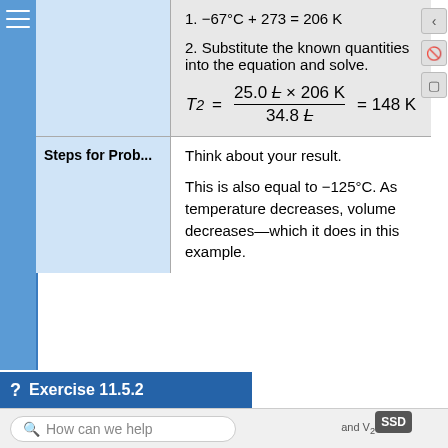1. −67°C + 273 = 206 K
2. Substitute the known quantities into the equation and solve.
Steps for Prob...
Think about your result.

This is also equal to −125°C. As temperature decreases, volume decreases—which it does in this example.
? Exercise 11.5.2
How can we help